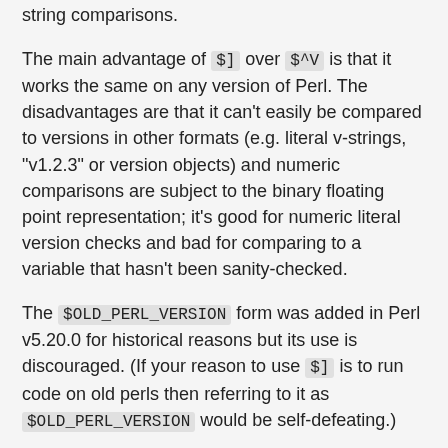string comparisons.
The main advantage of $] over $^V is that it works the same on any version of Perl. The disadvantages are that it can't easily be compared to versions in other formats (e.g. literal v-strings, "v1.2.3" or version objects) and numeric comparisons are subject to the binary floating point representation; it's good for numeric literal version checks and bad for comparing to a variable that hasn't been sanity-checked.
The $OLD_PERL_VERSION form was added in Perl v5.20.0 for historical reasons but its use is discouraged. (If your reason to use $] is to run code on old perls then referring to it as $OLD_PERL_VERSION would be self-defeating.)
Mnemonic: Is this version of perl in the right bracket?
$SYSTEM_FD_MAX